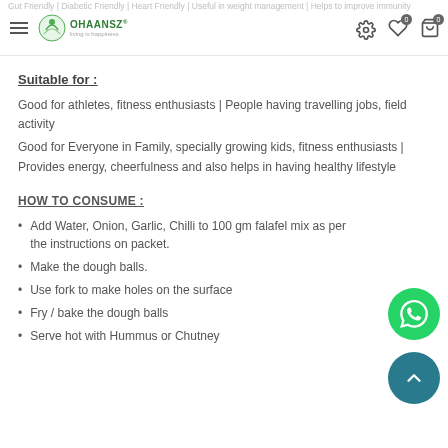OHAANSZ | Gut Friendly | Diabetic Friendly | Heart Friendly | Useful in weight management | Helps to improve immunity
Suitable for :
Good for athletes, fitness enthusiasts | People having travelling jobs, field activity
Good for Everyone in Family, specially growing kids, fitness enthusiasts | Provides energy, cheerfulness and also helps in having healthy lifestyle
HOW TO CONSUME :
Add Water, Onion, Garlic, Chilli to 100 gm falafel mix as per the instructions on packet.
Make the dough balls.
Use fork to make holes on the surface
Fry / bake the dough balls
Serve hot with Hummus or Chutney